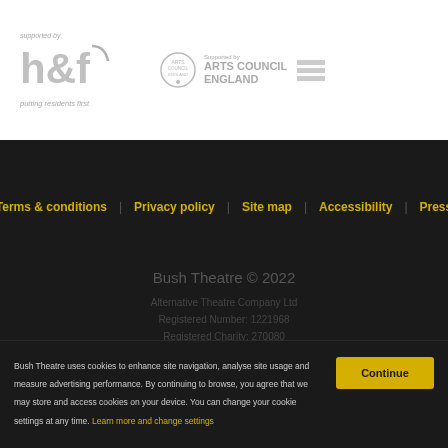[Figure (logo): Hammersmith & Fulham council logo with text 'supported by h&f putting residents first' in grey]
[Figure (logo): Arts Council England logo - circular arts council mark with text 'Supported by ARTS COUNCIL ENGLAND' and lottery bars]
Terms & conditions    Privacy policy    Site map    Accessibility    Press
Bush Theatre © 2022
Alternative Theatre Company Ltd
Registered Number: 1221968
Registered Charity: 270080
Bush Theatre uses cookies to enhance site navigation, analyse site usage and measure advertising performance. By continuing to browse, you agree that we may store and access cookies on your device. You can change your cookie settings at any time. Learn more and change settings